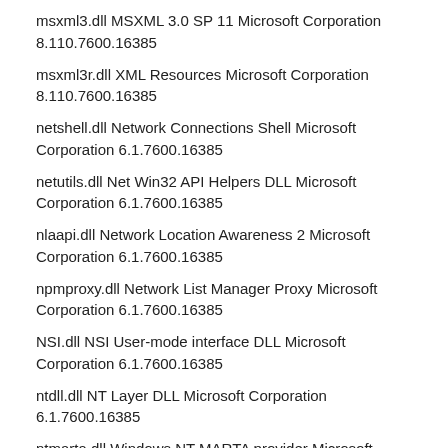msxml3.dll MSXML 3.0 SP 11 Microsoft Corporation 8.110.7600.16385
msxml3r.dll XML Resources Microsoft Corporation 8.110.7600.16385
netshell.dll Network Connections Shell Microsoft Corporation 6.1.7600.16385
netutils.dll Net Win32 API Helpers DLL Microsoft Corporation 6.1.7600.16385
nlaapi.dll Network Location Awareness 2 Microsoft Corporation 6.1.7600.16385
npmproxy.dll Network List Manager Proxy Microsoft Corporation 6.1.7600.16385
NSI.dll NSI User-mode interface DLL Microsoft Corporation 6.1.7600.16385
ntdll.dll NT Layer DLL Microsoft Corporation 6.1.7600.16385
ntmarta.dll Windows NT MARTA provider Microsoft Corporation 6.1.7600.16385
ntshrui.dll Shell extensions for sharing Microsoft Corporation